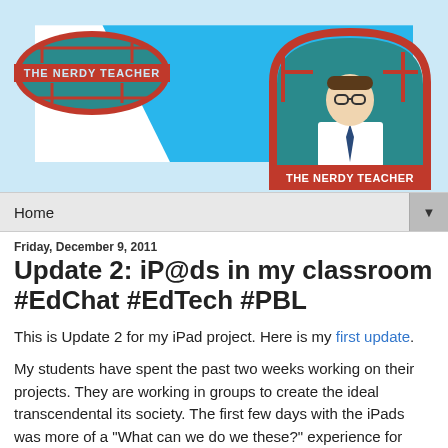[Figure (illustration): The Nerdy Teacher blog banner with logo oval on left showing 'THE NERDY TEACHER' text in teal/red oval, blue diagonal background, and right illustration of a nerdy man in glasses and tie with 'THE NERDY TEACHER' text below]
Home
Friday, December 9, 2011
Update 2: iP@ds in my classroom #EdChat #EdTech #PBL
This is Update 2 for my iPad project. Here is my first update.
My students have spent the past two weeks working on their projects. They are working in groups to create the ideal transcendental its society. The first few days with the iPads was more of a "What can we do we these?" experience for